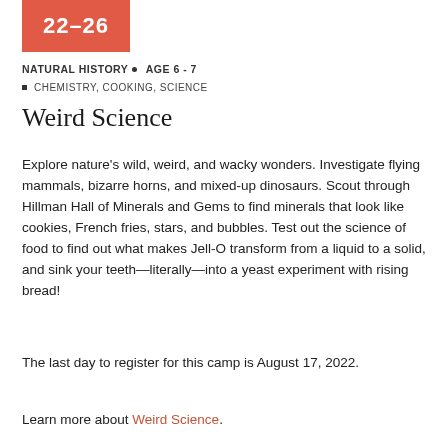[Figure (other): Red/coral colored box with white bold text '22–26']
NATURAL HISTORY ■ AGE 6 - 7
CHEMISTRY, COOKING, SCIENCE
Weird Science
Explore nature's wild, weird, and wacky wonders. Investigate flying mammals, bizarre horns, and mixed-up dinosaurs. Scout through Hillman Hall of Minerals and Gems to find minerals that look like cookies, French fries, stars, and bubbles. Test out the science of food to find out what makes Jell-O transform from a liquid to a solid, and sink your teeth—literally—into a yeast experiment with rising bread!
The last day to register for this camp is August 17, 2022.
Learn more about Weird Science.